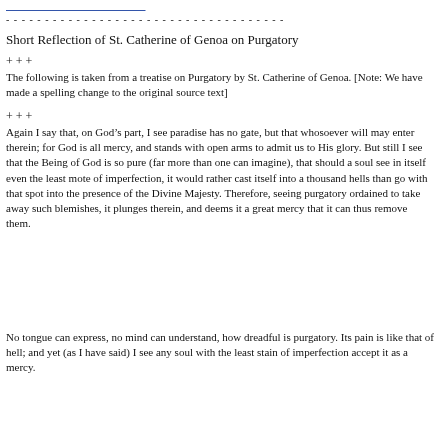[navigation/header link text truncated]
- - - - - - - - - - - - - - - - - - - - - - - - - - - - - - - - - - - -
Short Reflection of St. Catherine of Genoa on Purgatory
+ + +
The following is taken from a treatise on Purgatory by St. Catherine of Genoa. [Note: We have made a spelling change to the original source text]
+ + +
Again I say that, on God’s part, I see paradise has no gate, but that whosoever will may enter therein; for God is all mercy, and stands with open arms to admit us to His glory. But still I see that the Being of God is so pure (far more than one can imagine), that should a soul see in itself even the least mote of imperfection, it would rather cast itself into a thousand hells than go with that spot into the presence of the Divine Majesty. Therefore, seeing purgatory ordained to take away such blemishes, it plunges therein, and deems it a great mercy that it can thus remove them.
No tongue can express, no mind can understand, how dreadful is purgatory. Its pain is like that of hell; and yet (as I have said) I see any soul with the least stain of imperfection accept it as a mercy.